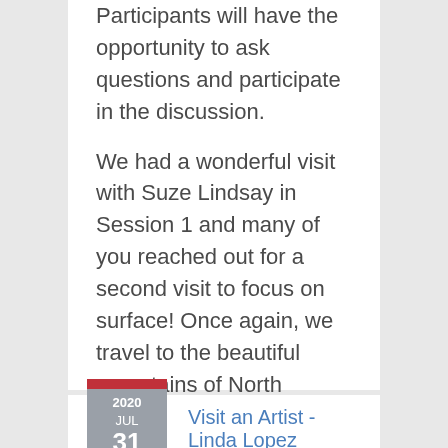Participants will have the opportunity to ask questions and participate in the discussion.

We had a wonderful visit with Suze Lindsay in Session 1 and many of you reached out for a second visit to focus on surface! Once again, we travel to the beautiful mountains of North Carolina to visit the one and only …
[Figure (other): Shield-shaped badge with a red top bar showing year 2020, and grey body with month JUL and day 31]
Visit an Artist - Linda Lopez